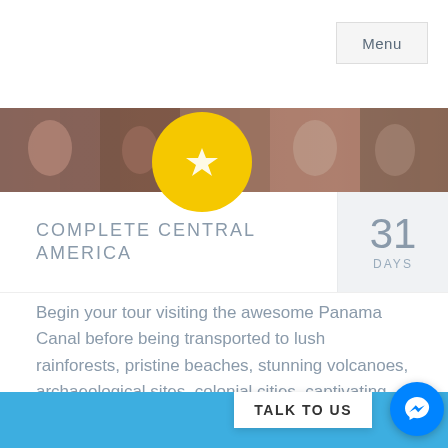Menu
[Figure (photo): Colorful image strip showing masks and cultural artifacts from Central America, with a yellow circular logo/icon overlay]
COMPLETE CENTRAL AMERICA
31 DAYS
Begin your tour visiting the awesome Panama Canal before being transported to lush rainforests, pristine beaches, stunning volcanoes, archaeological sites, colonial cities, captivating Mayan culture, and last but not least, the world famous Tikal Ruins.
TALK TO US